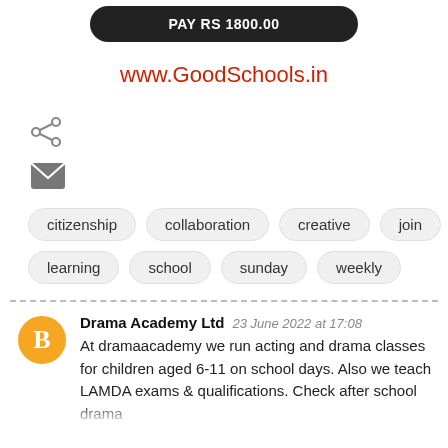PAY RS 1800.00
www.GoodSchools.in
[Figure (other): Share icon (less-than style social share icon)]
[Figure (other): Email/envelope icon]
citizenship
collaboration
creative
join
learning
school
sunday
weekly
Drama Academy Ltd  23 June 2022 at 17:08
At dramaacademy we run acting and drama classes for children aged 6-11 on school days. Also we teach LAMDA exams & qualifications. Check after school drama